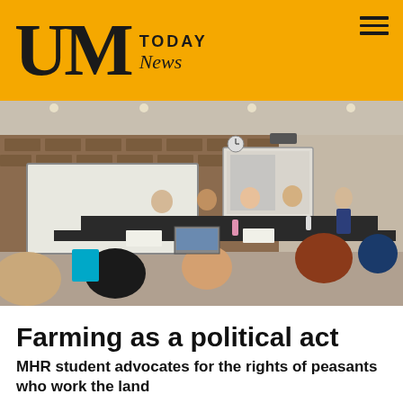UM TODAY News
[Figure (photo): Students seated at a long conference table in a classroom with brick walls, listening to a presenter standing near a projection screen at the front.]
Farming as a political act
MHR student advocates for the rights of peasants who work the land